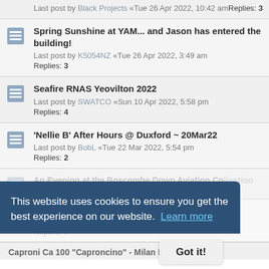Last post by Black Projects «Tue 26 Apr 2022, 10:42 am
Replies: 3
Spring Sunshine at YAM... and Jason has entered the building!
Last post by K5054NZ «Tue 26 Apr 2022, 3:49 am
Replies: 3
Seafire RNAS Yeovilton 2022
Last post by SWATCO «Sun 10 Apr 2022, 5:58 pm
Replies: 4
'Nellie B' After Hours @ Duxford ~ 20Mar22
Last post by BobL «Tue 22 Mar 2022, 5:54 pm
Replies: 2
An Evening at the Boscombe Down Aviation Collection
This website uses cookies to ensure you get the best experience on our website. Learn more
Got it!
Air to Air with TE308
Last post by K5054NZ «Tue 01 Mar 2022, 2:44 am
Replies: 7
Caproni Ca 100 "Caproncino" - Milan Bresso 13/2/22